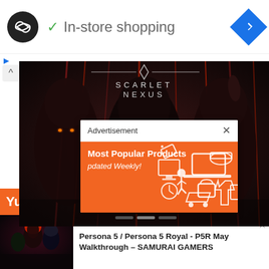[Figure (screenshot): Top bar with circular logo (infinity-like symbol on black circle), green checkmark, 'In-store shopping' text, and blue diamond navigation icon on right]
✓  In-store shopping
[Figure (screenshot): Advertisement controls: play button triangle and X close button on left side]
[Figure (photo): Scarlet Nexus game banner showing dark fantasy characters in hooded costumes with glowing eyes against red/dark background, with SCARLET NEXUS logo text at top]
[Figure (screenshot): Advertisement popup overlay with header 'Advertisement' and X close button, orange body with text 'Most Popular Products' and 'pdated Weekly!' and shopping icons illustration]
Yuito Story Phase 2: Days of
[Figure (photo): Thumbnail image of Persona 5 game art showing anime-style characters]
Persona 5 / Persona 5 Royal - P5R May Walkthrough – SAMURAI GAMERS